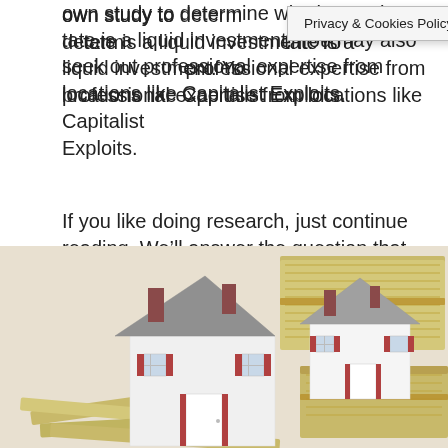own study to determine whether real estate is a liquid investment. You may also seek out professional expertise from locations like Capitalist Exploits.
If you like doing research, just continue reading. We'll answer the question that everyone has: “Is real estate a liquid investment?” So, without further ado, let’s get to the bottom of this issue (and more important information you need to consider).
[Figure (photo): Miniature model house figures placed on top of stacks of US dollar bills/cash, representing real estate as a financial investment.]